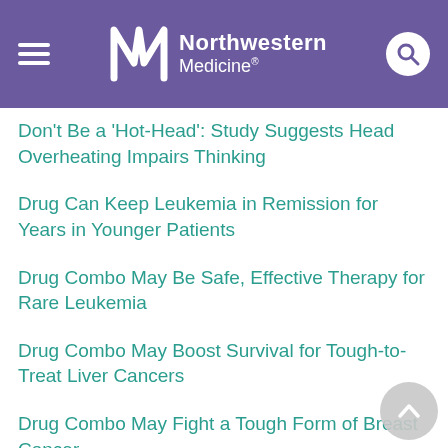Northwestern Medicine
Don't Be a 'Hot-Head': Study Suggests Head Overheating Impairs Thinking
Drug Can Keep Leukemia in Remission for Years in Younger Patients
Drug Combo May Be Safe, Effective Therapy for Rare Leukemia
Drug Combo May Boost Survival for Tough-to-Treat Liver Cancers
Drug Combo May Fight a Tough Form of Breast Cancer
Drug Could Boost Survival From Lung Cancer Affecting Non-Smokers
Drug Lynparza Could Help Fight Some Early-